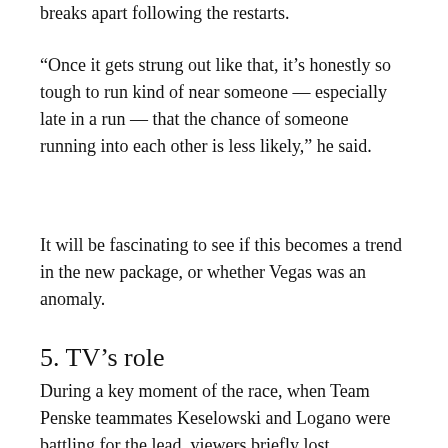breaks apart following the restarts.
“Once it gets strung out like that, it’s honestly so tough to run kind of near someone — especially late in a run — that the chance of someone running into each other is less likely,” he said.
It will be fascinating to see if this becomes a trend in the new package, or whether Vegas was an anomaly.
5. TV’s role
During a key moment of the race, when Team Penske teammates Keselowski and Logano were battling for the lead, viewers briefly lost perspective on the action. FOX was showing the race from Logano’s bumper cam, and the drivers suddenly had some sort of contact — but it was hard to tell what happened. A replay from a wider